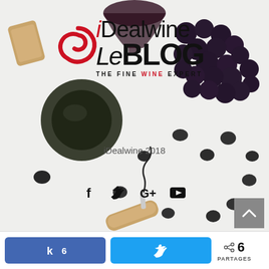[Figure (logo): iDealwine Le Blog – The Fine Wine Expert logo with red spiral graphic, overlaid on a wine and grapes lifestyle photo with cork, bottle bottom, grapes, and corkscrew]
iDealwine 2018
[Figure (infographic): Social media icons: Facebook (f), Twitter (bird), Google+ (G+), YouTube (play button)]
[Figure (infographic): Scroll-to-top button: grey square with up chevron]
6
PARTAGES